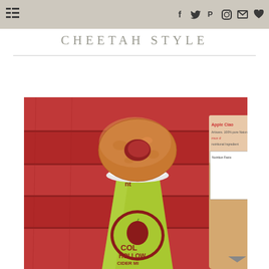Navigation menu and social icons: Facebook, Twitter, Pinterest, Instagram, Email, Favorites
CHEETAH STYLE
[Figure (photo): A cinnamon apple cider donut balanced on top of a white foam cup with a Cold Hollow Cider Mill green cup sleeve, sitting on a red wooden picnic table. A bottle of apple cider is visible on the right side.]